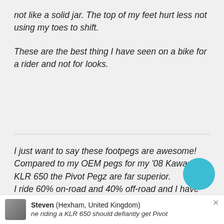not like a solid jar. The top of my feet hurt less not using my toes to shift.
These are the best thing I have seen on a bike for a rider and not for looks.
I just want to say these footpegs are awesome! Compared to my OEM pegs for my '08 Kawasaki KLR 650 the Pivot Pegz are far superior.
I ride 60% on-road and 40% off-road and I have already noticed that braking and shifting is easier and smoother and my feet don't slip when riding gets technical, wet or muddy.
Steven (Hexham, United Kingdom)
ne riding a KLR 650 should defiantly get Pivot